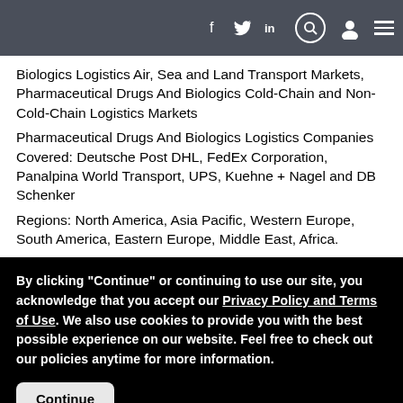Navigation bar with social media icons (Facebook, Twitter, LinkedIn), search, profile, and menu
Biologics Logistics Air, Sea and Land Transport Markets, Pharmaceutical Drugs And Biologics Cold-Chain and Non-Cold-Chain Logistics Markets
Pharmaceutical Drugs And Biologics Logistics Companies Covered: Deutsche Post DHL, FedEx Corporation, Panalpina World Transport, UPS, Kuehne + Nagel and DB Schenker
Regions: North America, Asia Pacific, Western Europe, South America, Eastern Europe, Middle East, Africa.
By clicking "Continue" or continuing to use our site, you acknowledge that you accept our Privacy Policy and Terms of Use. We also use cookies to provide you with the best possible experience on our website. Feel free to check out our policies anytime for more information.
Continue